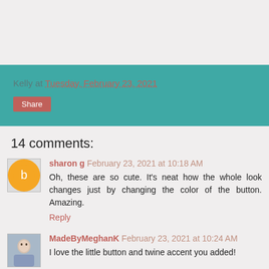Kelly at Tuesday, February 23, 2021
Share
14 comments:
sharon g  February 23, 2021 at 10:18 AM
Oh, these are so cute. It's neat how the whole look changes just by changing the color of the button. Amazing.
Reply
MadeByMeghanK  February 23, 2021 at 10:24 AM
I love the little button and twine accent you added!